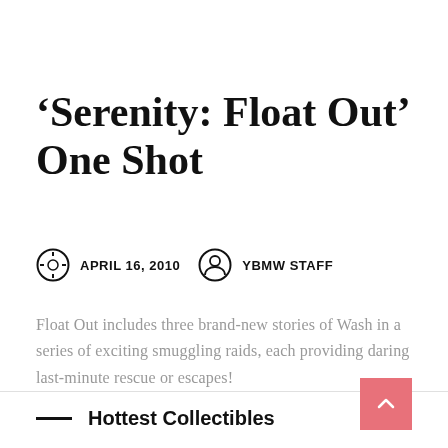‘Serenity: Float Out’ One Shot
APRIL 16, 2010   YBMW STAFF
Float Out includes three brand-new stories of Wash in a series of exciting smuggling raids, each providing daring last-minute rescue or escapes!
Hottest Collectibles